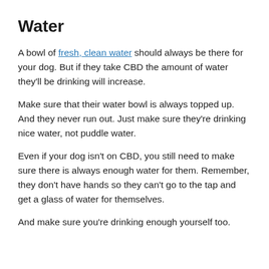Water
A bowl of fresh, clean water should always be there for your dog. But if they take CBD the amount of water they'll be drinking will increase.
Make sure that their water bowl is always topped up. And they never run out. Just make sure they're drinking nice water, not puddle water.
Even if your dog isn't on CBD, you still need to make sure there is always enough water for them. Remember, they don't have hands so they can't go to the tap and get a glass of water for themselves.
And make sure you're drinking enough yourself too.